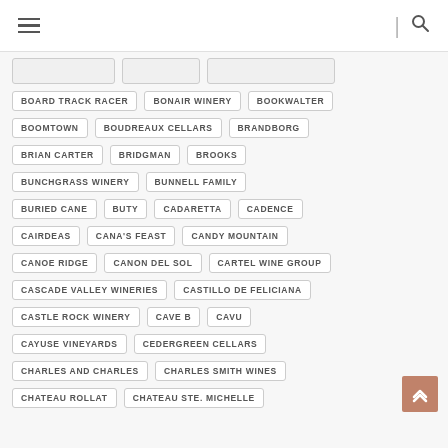Navigation header with hamburger menu and search icon
BOARD TRACK RACER
BONAIR WINERY
BOOKWALTER
BOOMTOWN
BOUDREAUX CELLARS
BRANDBORG
BRIAN CARTER
BRIDGMAN
BROOKS
BUNCHGRASS WINERY
BUNNELL FAMILY
BURIED CANE
BUTY
CADARETTA
CADENCE
CAIRDEAS
CANA'S FEAST
CANDY MOUNTAIN
CANOE RIDGE
CANON DEL SOL
CARTEL WINE GROUP
CASCADE VALLEY WINERIES
CASTILLO DE FELICIANA
CASTLE ROCK WINERY
CAVE B
CAVU
CAYUSE VINEYARDS
CEDERGREEN CELLARS
CHARLES AND CHARLES
CHARLES SMITH WINES
CHATEAU ROLLAT
CHATEAU STE. MICHELLE